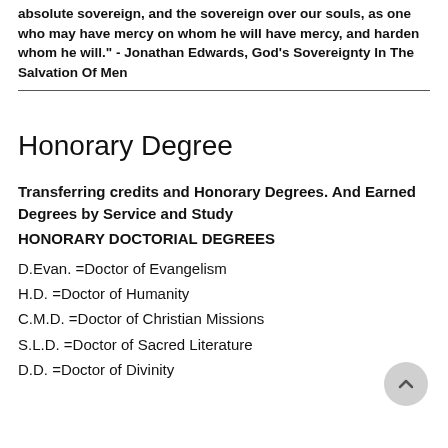absolute sovereign, and the sovereign over our souls, as one who may have mercy on whom he will have mercy, and harden whom he will." - Jonathan Edwards, God's Sovereignty In The Salvation Of Men
Honorary Degree
Transferring credits and Honorary Degrees. And Earned Degrees by Service and Study
HONORARY DOCTORIAL DEGREES
D.Evan. =Doctor of Evangelism
H.D. =Doctor of Humanity
C.M.D. =Doctor of Christian Missions
S.L.D. =Doctor of Sacred Literature
D.D. =Doctor of Divinity